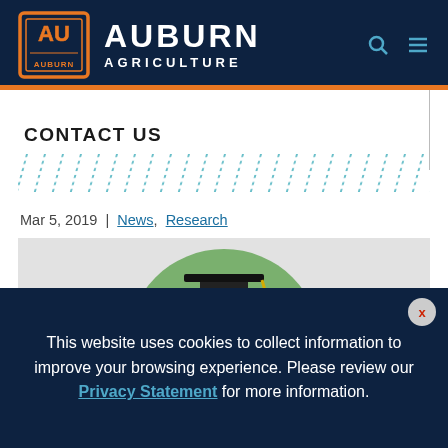[Figure (logo): Auburn Agriculture website header with AU logo, site name AUBURN AGRICULTURE, search and menu icons on dark navy background]
CONTACT US
[Figure (illustration): Decorative diagonal teal/cyan parallel lines pattern]
Mar 5, 2019 | News, Research
[Figure (photo): Circular cropped photo of a female graduate wearing a black cap and gown with gold tassel, smiling, outdoors with green bokeh background]
This website uses cookies to collect information to improve your browsing experience. Please review our Privacy Statement for more information.